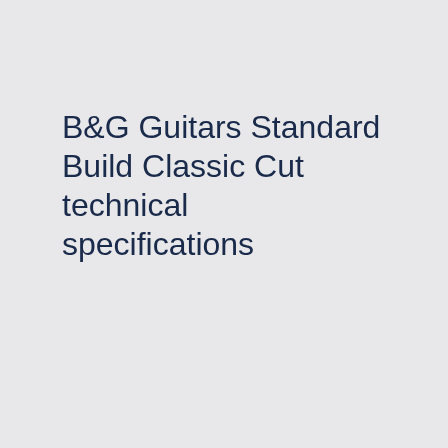B&G Guitars Standard Build Classic Cut technical specifications